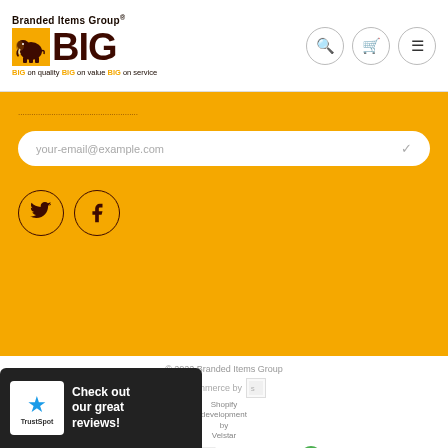[Figure (logo): Branded Items Group BIG logo with elephant on yellow background, tagline: BIG on quality BIG on value BIG on service]
[Figure (infographic): Header navigation icons: search, cart, menu (hamburger)]
your-email@example.com
[Figure (infographic): Social media icons: Twitter (bird) and Facebook (f) as circular bordered buttons on yellow background]
© 2022 Branded Items Group
Ecommerce by Shopify development by Velstar
[Figure (infographic): Payment method icons: Discover, Mastercard, Apple Pay, Visa, and a green circular icon]
[Figure (infographic): TrustSpot widget: Check out our great reviews!]